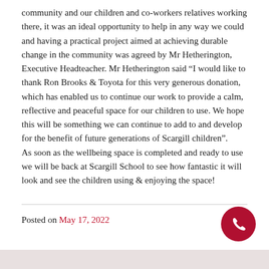community and our children and co-workers relatives working there, it was an ideal opportunity to help in any way we could and having a practical project aimed at achieving durable change in the community was agreed by Mr Hetherington, Executive Headteacher. Mr Hetherington said “I would like to thank Ron Brooks & Toyota for this very generous donation, which has enabled us to continue our work to provide a calm, reflective and peaceful space for our children to use. We hope this will be something we can continue to add to and develop for the benefit of future generations of Scargill children”. As soon as the wellbeing space is completed and ready to use we will be back at Scargill School to see how fantastic it will look and see the children using & enjoying the space!
Posted on May 17, 2022